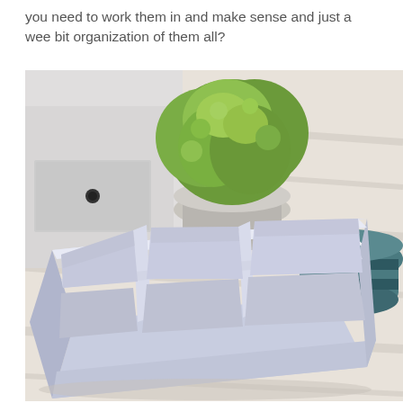you need to work them in and make sense and just a wee bit organization of them all?
[Figure (photo): A white divided organizer tray with 6 compartments arranged in a 2x3 grid, photographed on a light wooden surface. In the background there is a white dresser with a round black knob, a green leafy plant in a white pot, and a striped teal and white bowl or cup.]